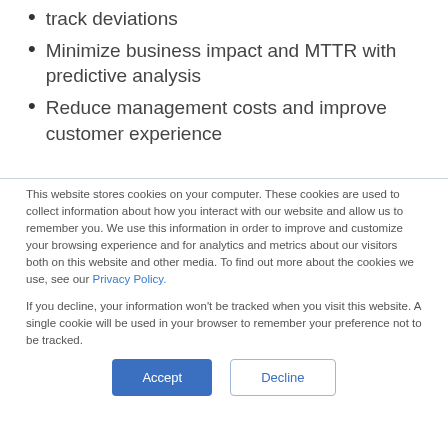track deviations
Minimize business impact and MTTR with predictive analysis
Reduce management costs and improve customer experience
This website stores cookies on your computer. These cookies are used to collect information about how you interact with our website and allow us to remember you. We use this information in order to improve and customize your browsing experience and for analytics and metrics about our visitors both on this website and other media. To find out more about the cookies we use, see our Privacy Policy.
If you decline, your information won't be tracked when you visit this website. A single cookie will be used in your browser to remember your preference not to be tracked.